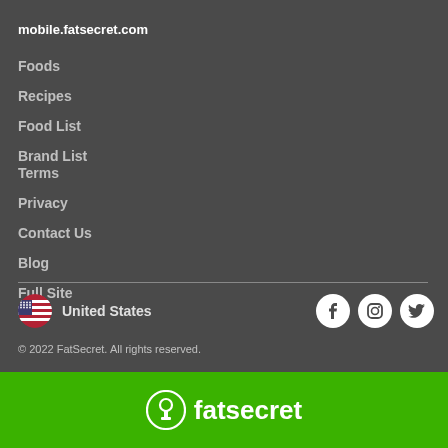mobile.fatsecret.com
Foods
Recipes
Food List
Brand List
Terms
Privacy
Contact Us
Blog
Full Site
United States
© 2022 FatSecret. All rights reserved.
[Figure (logo): FatSecret logo with lock icon and text 'fatsecret' on green background]